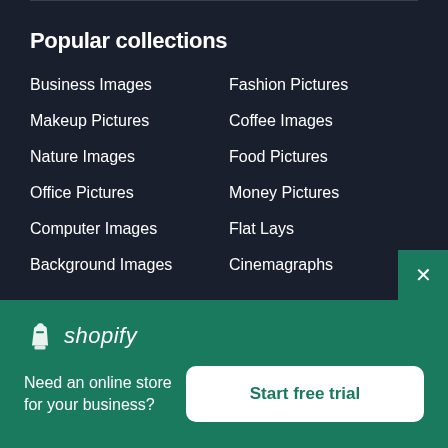Popular collections
Business Images
Fashion Pictures
Makeup Pictures
Coffee Images
Nature Images
Food Pictures
Office Pictures
Money Pictures
Computer Images
Flat Lays
Background Images
Cinemagraphs
[Figure (logo): Shopify logo with shopping bag icon and italic shopify text]
Need an online store for your business?
Start free trial